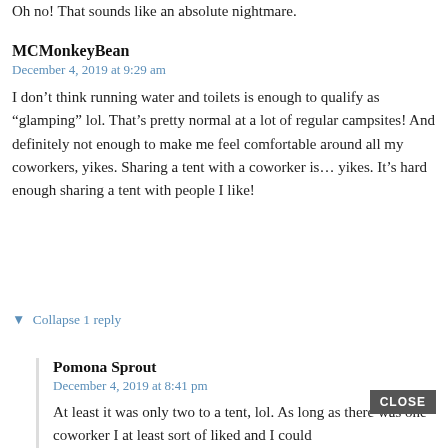Oh no! That sounds like an absolute nightmare.
MCMonkeyBean
December 4, 2019 at 9:29 am
I don't think running water and toilets is enough to qualify as “glamping” lol. That’s pretty normal at a lot of regular campsites! And definitely not enough to make me feel comfortable around all my coworkers, yikes. Sharing a tent with a coworker is… yikes. It’s hard enough sharing a tent with people I like!
▼ Collapse 1 reply
Pomona Sprout
December 4, 2019 at 8:41 pm
At least it was only two to a tent, lol. As long as there was one coworker I at least sort of liked and I could